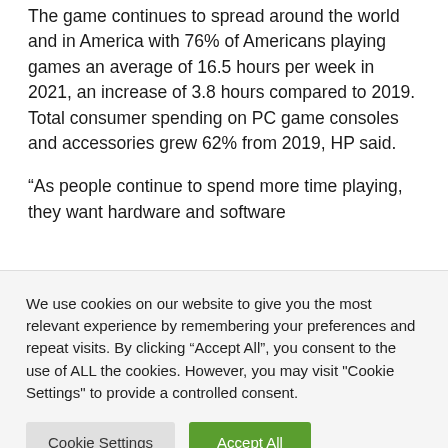The game continues to spread around the world and in America with 76% of Americans playing games an average of 16.5 hours per week in 2021, an increase of 3.8 hours compared to 2019. Total consumer spending on PC game consoles and accessories grew 62% from 2019, HP said.
“As people continue to spend more time playing, they want hardware and software
We use cookies on our website to give you the most relevant experience by remembering your preferences and repeat visits. By clicking “Accept All”, you consent to the use of ALL the cookies. However, you may visit "Cookie Settings" to provide a controlled consent.